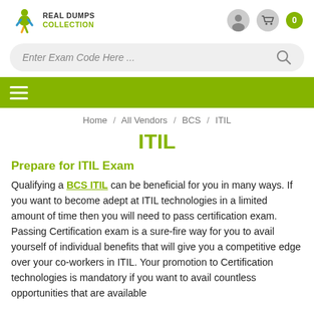[Figure (logo): Real Dumps Collection logo with green figure icon and bold text]
[Figure (screenshot): Search bar with placeholder 'Enter Exam Code Here ...' and magnifying glass icon]
[Figure (screenshot): Green navigation bar with hamburger menu icon]
Home / All Vendors / BCS / ITIL
ITIL
Prepare for ITIL Exam
Qualifying a BCS ITIL can be beneficial for you in many ways. If you want to become adept at ITIL technologies in a limited amount of time then you will need to pass certification exam. Passing Certification exam is a sure-fire way for you to avail yourself of individual benefits that will give you a competitive edge over your co-workers in ITIL. Your promotion to Certification technologies is mandatory if you want to avail countless opportunities that are available